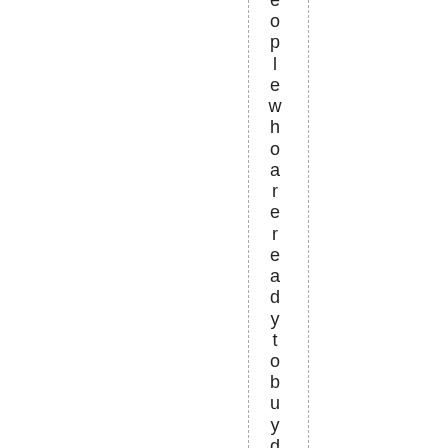eople who are ready to buy directly t